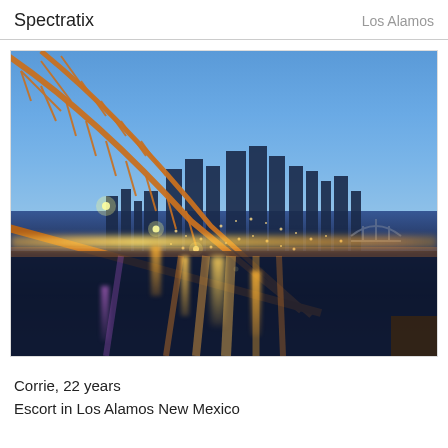Spectratix      Los Alamos
[Figure (photo): Nighttime city skyline photo taken from under a large bridge arch. The city is illuminated with warm golden lights reflecting off the water. A second smaller bridge is visible in the background to the right. Blue twilight sky overhead.]
Corrie, 22 years
Escort in Los Alamos New Mexico